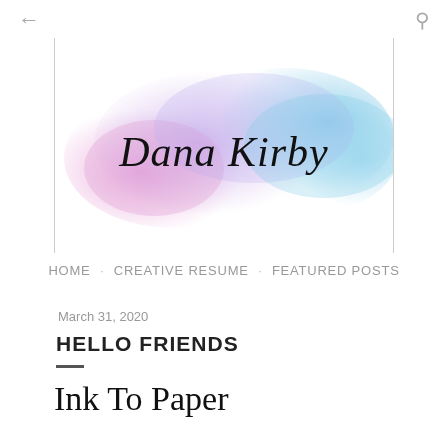← (back) Q (search)
[Figure (logo): Dana Kirby blog logo: cursive/script text 'Dana Kirby' on a watercolor splash background in pink, purple, and blue pastel colors, framed by vertical gray border lines on left and right.]
HOME · CREATIVE RESUME · FEATURED POSTS
March 31, 2020
HELLO FRIENDS
Ink To Paper